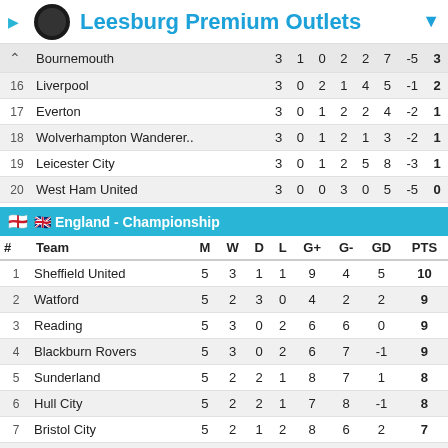Leesburg Premium Outlets
| # | Team | M | W | D | L | G+ | G- | GD | PTS |
| --- | --- | --- | --- | --- | --- | --- | --- | --- | --- |
|  | Bournemouth | 3 | 1 | 0 | 2 | 2 | 7 | -5 | 3 |
| 16 | Liverpool | 3 | 0 | 2 | 1 | 4 | 5 | -1 | 2 |
| 17 | Everton | 3 | 0 | 1 | 2 | 2 | 4 | -2 | 1 |
| 18 | Wolverhampton Wanderer.. | 3 | 0 | 1 | 2 | 1 | 3 | -2 | 1 |
| 19 | Leicester City | 3 | 0 | 1 | 2 | 5 | 8 | -3 | 1 |
| 20 | West Ham United | 3 | 0 | 0 | 3 | 0 | 5 | -5 | 0 |
England - Championship
| # | Team | M | W | D | L | G+ | G- | GD | PTS |
| --- | --- | --- | --- | --- | --- | --- | --- | --- | --- |
| 1 | Sheffield United | 5 | 3 | 1 | 1 | 9 | 4 | 5 | 10 |
| 2 | Watford | 5 | 2 | 3 | 0 | 4 | 2 | 2 | 9 |
| 3 | Reading | 5 | 3 | 0 | 2 | 6 | 6 | 0 | 9 |
| 4 | Blackburn Rovers | 5 | 3 | 0 | 2 | 6 | 7 | -1 | 9 |
| 5 | Sunderland | 5 | 2 | 2 | 1 | 8 | 7 | 1 | 8 |
| 6 | Hull City | 5 | 2 | 2 | 1 | 7 | 8 | -1 | 8 |
| 7 | Bristol City | 5 | 2 | 1 | 2 | 8 | 6 | 2 | 7 |
| 8 | Norwich City | 5 | 2 | 1 | 2 | 6 | 5 | 1 | 7 |
| 9 | Preston North End | 5 | 1 | 4 | 0 | 1 | 0 | 1 | 7 |
| 10 | Millwall | 5 | 2 | 1 | 2 | 7 | 8 | -1 | 7 |
| 11 | Blackpool | 5 | 2 | 1 | 2 | 5 | 6 | -1 | 7 |